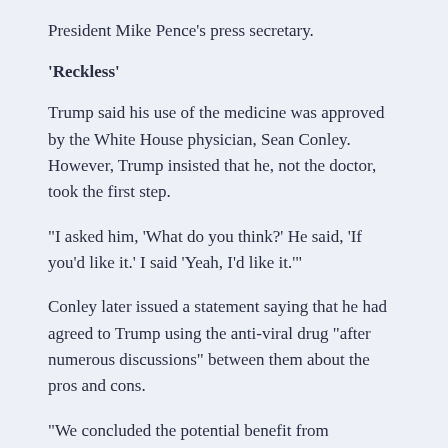President Mike Pence’s press secretary.
‘Reckless’
Trump said his use of the medicine was approved by the White House physician, Sean Conley. However, Trump insisted that he, not the doctor, took the first step.
“I asked him, ‘What do you think?’ He said, ‘If you’d like it.’ I said ‘Yeah, I’d like it.’”
Conley later issued a statement saying that he had agreed to Trump using the anti-viral drug “after numerous discussions” between them about the pros and cons.
“We concluded the potential benefit from